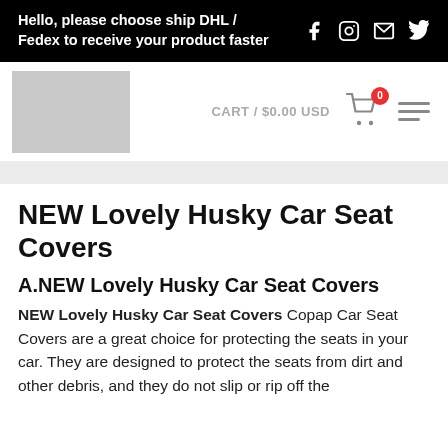Hello, please choose ship DHL / Fedex to receive your product faster
[Figure (screenshot): Website navigation bar with logo placeholder (gray box), cart showing CART / $0.00 USD with shopping cart icon and badge showing 0, and hamburger menu icon]
NEW Lovely Husky Car Seat Covers
A.NEW Lovely Husky Car Seat Covers
NEW Lovely Husky Car Seat Covers Copap Car Seat Covers are a great choice for protecting the seats in your car. They are designed to protect the seats from dirt and other debris, and they do not slip or rip off the